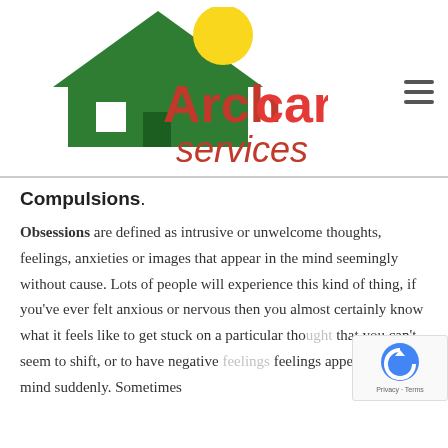[Figure (logo): Archcare Services logo: green house with yellow sun, red and dark text reading 'Archcare services']
Compulsions.
Obsessions are defined as intrusive or unwelcome thoughts, feelings, anxieties or images that appear in the mind seemingly without cause. Lots of people will experience this kind of thing, if you've ever felt anxious or nervous then you almost certainly know what it feels like to get stuck on a particular thought that you can't seem to shift, or to have negative feelings appear in your mind suddenly. Sometimes